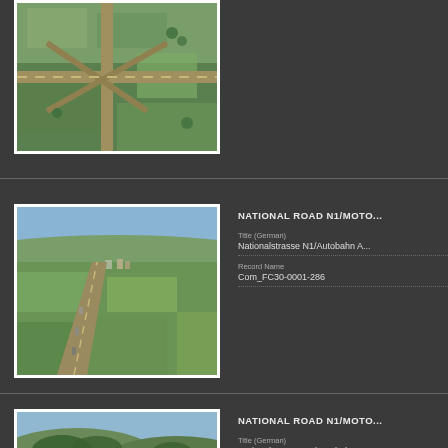[Figure (photo): Aerial view of a highway interchange, partial crop at top of page]
[Figure (photo): Aerial view of National Road N1/Motorway straight section through farmland]
NATIONAL ROAD N1/MOTO...
Title (German)
Nationalstrasse N1/Autobahn A...
Record Name
Com_FC30-0001-286
[Figure (photo): Aerial view of National Road N1/Motorway curving through hilly landscape]
NATIONAL ROAD N1/MOTO...
Title (German)
Nationalstrasse N1/Autobahn A...
Record Name
Com_FC30-0001-287